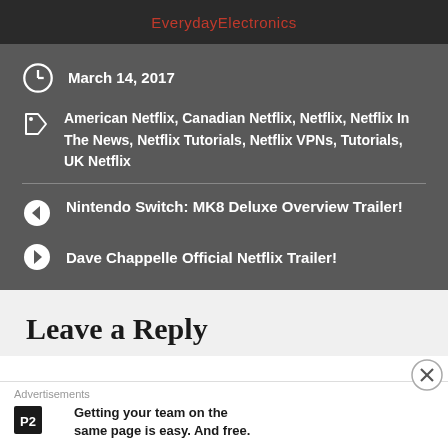EverydayElectronics
March 14, 2017
American Netflix, Canadian Netflix, Netflix, Netflix In The News, Netflix Tutorials, Netflix VPNs, Tutorials, UK Netflix
Nintendo Switch: MK8 Deluxe Overview Trailer!
Dave Chappelle Official Netflix Trailer!
Leave a Reply
Advertisements
Getting your team on the same page is easy. And free.